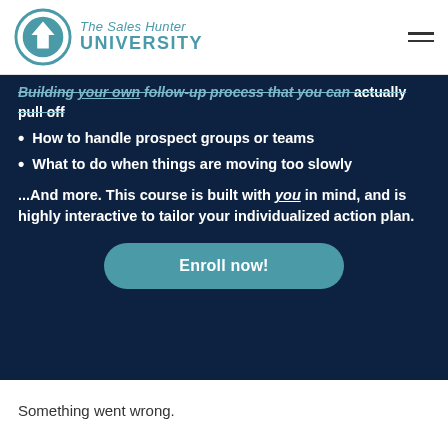[Figure (logo): The Sales Hunter University logo with circular teal icon and text]
Building your own follow-up process that you can actually pull off
How to handle prospect groups or teams
What to do when things are moving too slowly
...And more. This course is built with you in mind, and is highly interactive to tailor your individualized action plan.
Enroll now!
Something went wrong.